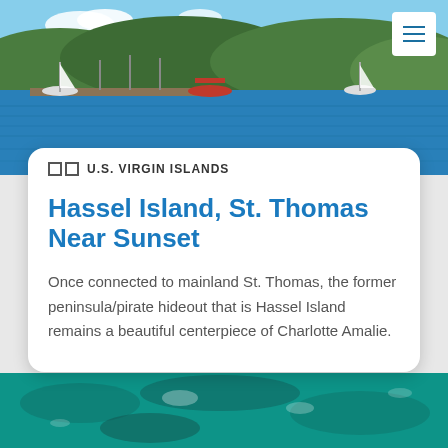[Figure (photo): Harbor scene near St. Thomas, U.S. Virgin Islands — boats on blue water with green hills in background]
U.S. VIRGIN ISLANDS
Hassel Island, St. Thomas Near Sunset
Once connected to mainland St. Thomas, the former peninsula/pirate hideout that is Hassel Island remains a beautiful centerpiece of Charlotte Amalie.
[Figure (photo): Aerial or close-up view of turquoise ocean water]